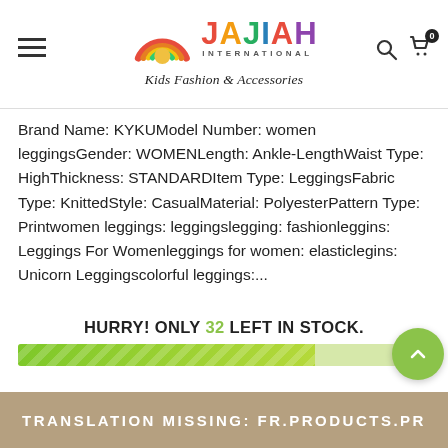[Figure (logo): Jajiah International Kids Fashion & Accessories logo with colorful rainbow arc icon and multicolored brand name]
Brand Name: KYKUModel Number: women leggingsGender: WOMENLength: Ankle-LengthWaist Type: HighThickness: STANDARDItem Type: LeggingsFabric Type: KnittedStyle: CasualMaterial: PolyesterPattern Type: Printwomen leggings: leggingslegging: fashionleggins: Leggings For Womenleggings for women: elasticlegins: Unicorn Leggingscolorful leggings:...
HURRY! ONLY 32 LEFT IN STOCK.
[Figure (infographic): Green progress bar showing approximately 72% stock remaining, with a green circular scroll-to-top button on the right]
TRANSLATION MISSING: FR.PRODUCTS.PR